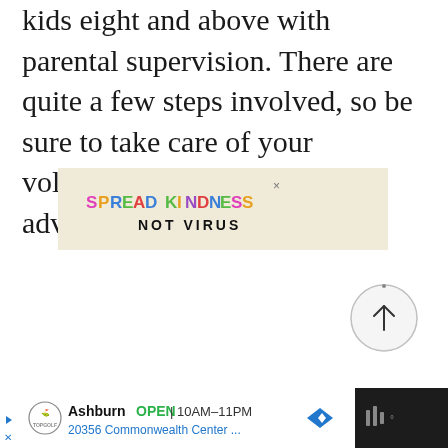kids eight and above with parental supervision. There are quite a few steps involved, so be sure to take care of your volunteering reservations in advance.
[Figure (infographic): Advertisement banner with beige/tan background. Text reads 'SPREAD KINDNESS' in multicolor bold letters and 'NOT VIRUS' in bold black letters below. An X close button in top right corner.]
[Figure (other): Circular scroll-to-top button with upward arrow, light gray background with gray border.]
[Figure (infographic): Bottom advertisement bar for Topgolf Ashburn showing OPEN 10AM-11PM, address 20356 Commonwealth Center..., with Topgolf logo and navigation arrow icon. Right side shows dark panel with audio/video controls.]